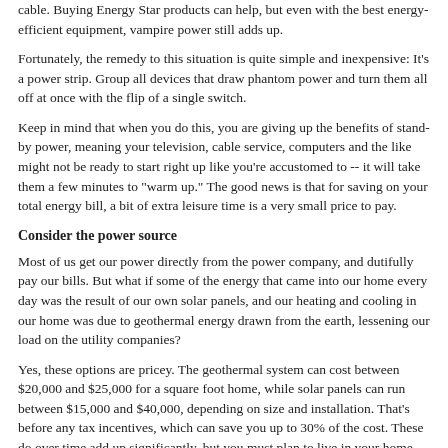cable. Buying Energy Star products can help, but even with the best energy-efficient equipment, vampire power still adds up.
Fortunately, the remedy to this situation is quite simple and inexpensive: It's a power strip. Group all devices that draw phantom power and turn them all off at once with the flip of a single switch.
Keep in mind that when you do this, you are giving up the benefits of stand-by power, meaning your television, cable service, computers and the like might not be ready to start right up like you're accustomed to -- it will take them a few minutes to "warm up." The good news is that for saving on your total energy bill, a bit of extra leisure time is a very small price to pay.
Consider the power source
Most of us get our power directly from the power company, and dutifully pay our bills. But what if some of the energy that came into our home every day was the result of our own solar panels, and our heating and cooling in our home was due to geothermal energy drawn from the earth, lessening our load on the utility companies?
Yes, these options are pricey. The geothermal system can cost between $20,000 and $25,000 for a square foot home, while solar panels can run between $15,000 and $40,000, depending on size and installation. That's before any tax incentives, which can save you up to 30% of the cost. These do over time add up significantly, but you must plan to live in your home for many decades to recoup the investment.
On the other hand, how much is peace of mind worth? What kind of price can you put on helping the environment? These energy savers, whether simple and inexpensive or complex and costly, can all help you do your part in making the world a better place -- all while putting money back in your pocket.
Photo credit to Marsela Cl...